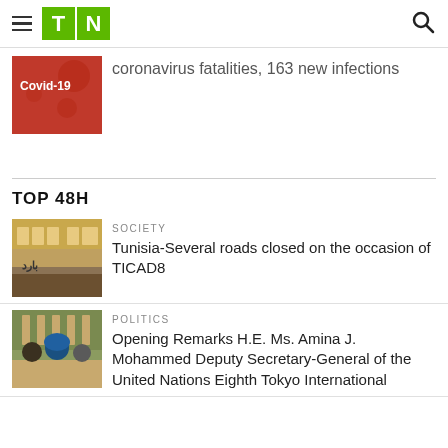TN - Navigation header with logo and search
coronavirus fatalities, 163 new infections
TOP 48H
SOCIETY
Tunisia-Several roads closed on the occasion of TICAD8
POLITICS
Opening Remarks H.E. Ms. Amina J. Mohammed Deputy Secretary-General of the United Nations Eighth Tokyo International